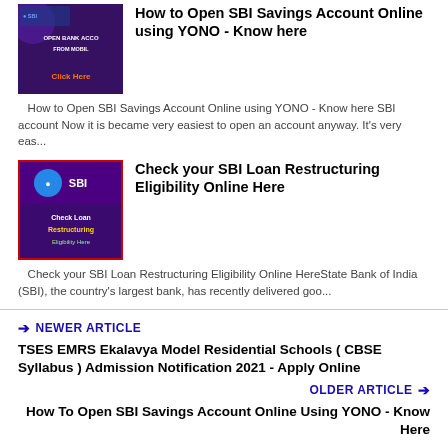[Figure (illustration): Thumbnail image for SBI savings account article showing 'Open Bank Account From Mobile' with Click Here button on purple background]
How to Open SBI Savings Account Online using YONO - Know here
How to Open SBI Savings Account Online using YONO - Know here SBI account Now it is became very easiest to open an account anyway. It's very eas...
[Figure (illustration): SBI logo thumbnail with red background showing 'Check Loan Restructuring Eligibility Here' text]
Check your SBI Loan Restructuring Eligibility Online Here
Check your SBI Loan Restructuring Eligibility Online HereState Bank of India (SBI), the country's largest bank, has recently delivered goo...
NEWER ARTICLE
TSES EMRS Ekalavya Model Residential Schools ( CBSE Syllabus ) Admission Notification 2021 - Apply Online
OLDER ARTICLE
How To Open SBI Savings Account Online Using YONO - Know Here